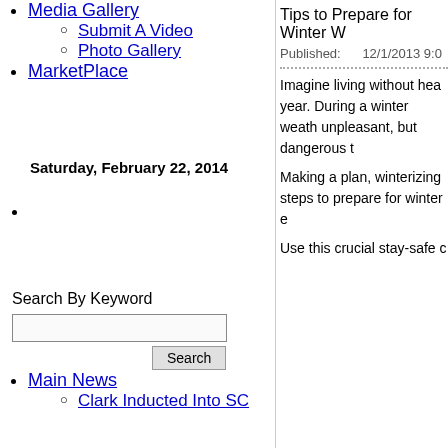Media Gallery
Submit A Video
Photo Gallery
MarketPlace
Saturday, February 22, 2014
Search By Keyword
Main News
Clark Inducted Into SC
Tips to Prepare for Winter W
Published:      12/1/2013 9:0
Imagine living without hea year. During a winter weath unpleasant, but dangerous t
Making a plan, winterizing steps to prepare for winter e
Use this crucial stay-safe c